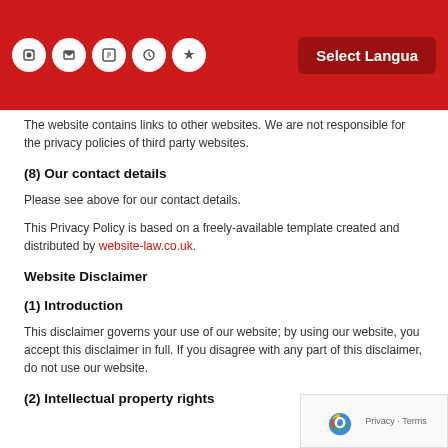Select Language
The website contains links to other websites. We are not responsible for the privacy policies of third party websites.
(8) Our contact details
Please see above for our contact details.
This Privacy Policy is based on a freely-available template created and distributed by website-law.co.uk.
Website Disclaimer
(1) Introduction
This disclaimer governs your use of our website; by using our website, you accept this disclaimer in full. If you disagree with any part of this disclaimer, do not use our website.
(2) Intellectual property rights